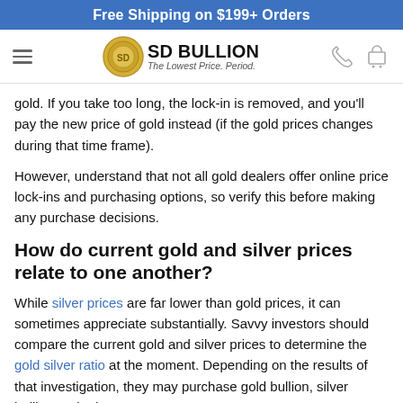Free Shipping on $199+ Orders
[Figure (logo): SD Bullion logo with coin image, hamburger menu, phone and cart icons]
gold. If you take too long, the lock-in is removed, and you'll pay the new price of gold instead (if the gold prices changes during that time frame).
However, understand that not all gold dealers offer online price lock-ins and purchasing options, so verify this before making any purchase decisions.
How do current gold and silver prices relate to one another?
While silver prices are far lower than gold prices, it can sometimes appreciate substantially. Savvy investors should compare the current gold and silver prices to determine the gold silver ratio at the moment. Depending on the results of that investigation, they may purchase gold bullion, silver bullion, or both.
What are the differences in grams and